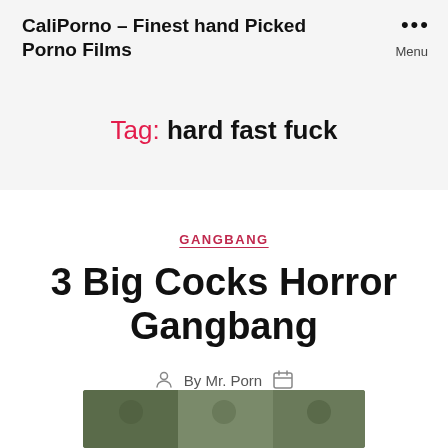CaliPorno – Finest hand Picked Porno Films
Tag: hard fast fuck
GANGBANG
3 Big Cocks Horror Gangbang
By Mr. Porn
[Figure (photo): Thumbnail image at bottom of page]